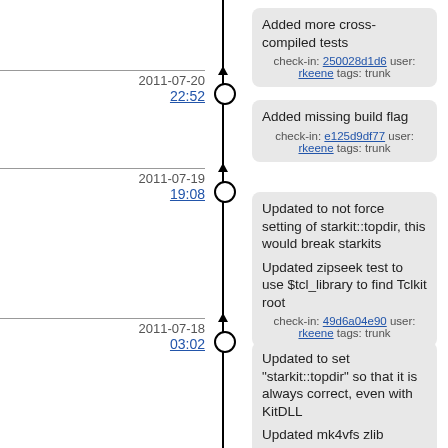[Figure (other): Version control timeline showing commits with dates, times, and descriptions]
Added more cross-compiled tests
check-in: 250028d1d6 user: rkeene tags: trunk
2011-07-20
22:52
Added missing build flag
check-in: e125d9df77 user: rkeene tags: trunk
2011-07-19
19:08
Updated to not force setting of starkit::topdir, this would break starkits
Updated zipseek test to use $tcl_library to find Tclkit root
check-in: 49d6a04e90 user: rkeene tags: trunk
2011-07-18
03:02
Updated to set "starkit::topdir" so that it is always correct, even with KitDLL
Updated mk4vfs zlib compressed seek test to use starkit::topdir
check-in: f8234649a5 user: rkeene tags: trunk